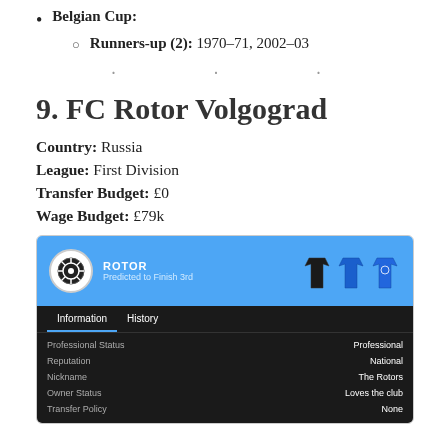Belgian Cup:
Runners-up (2): 1970–71, 2002–03
9. FC Rotor Volgograd
Country: Russia
League: First Division
Transfer Budget: £0
Wage Budget: £79k
[Figure (screenshot): Football Manager game screenshot showing FC Rotor club profile with blue header, club logo, ROTOR name, Predicted to Finish 3rd, and info tab showing Professional Status: Professional, Reputation: National, Nickname: The Rotors, Owner Status: Loves the club, Transfer Policy: None]